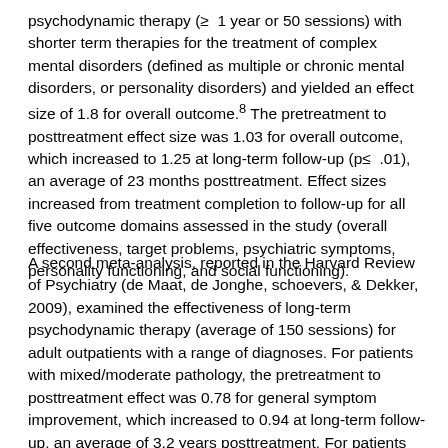psychodynamic therapy (≥1 year or 50 sessions) with shorter term therapies for the treatment of complex mental disorders (defined as multiple or chronic mental disorders, or personality disorders) and yielded an effect size of 1.8 for overall outcome.8 The pretreatment to posttreatment effect size was 1.03 for overall outcome, which increased to 1.25 at long-term follow-up (p≤.01), an average of 23 months posttreatment. Effect sizes increased from treatment completion to follow-up for all five outcome domains assessed in the study (overall effectiveness, target problems, psychiatric symptoms, personality functioning, and social functioning).
A second meta-analysis, reported in the Harvard Review of Psychiatry (de Maat, de Jonghe, schoevers, & Dekker, 2009), examined the effectiveness of long-term psychodynamic therapy (average of 150 sessions) for adult outpatients with a range of diagnoses. For patients with mixed/moderate pathology, the pretreatment to posttreatment effect was 0.78 for general symptom improvement, which increased to 0.94 at long-term follow-up, an average of 3.2 years posttreatment. For patients with severe personality pathology, the pretreatment to posttreatment effect was 0.94, which increased to 1.02 at long-term...